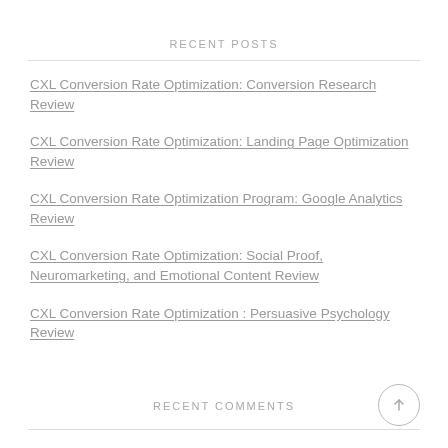RECENT POSTS
CXL Conversion Rate Optimization: Conversion Research Review
CXL Conversion Rate Optimization: Landing Page Optimization Review
CXL Conversion Rate Optimization Program: Google Analytics Review
CXL Conversion Rate Optimization: Social Proof, Neuromarketing, and Emotional Content Review
CXL Conversion Rate Optimization : Persuasive Psychology Review
RECENT COMMENTS